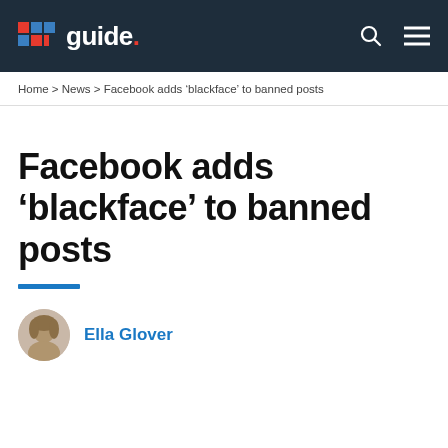PC guide.
Home > News > Facebook adds 'blackface' to banned posts
Facebook adds ‘blackface’ to banned posts
Ella Glover